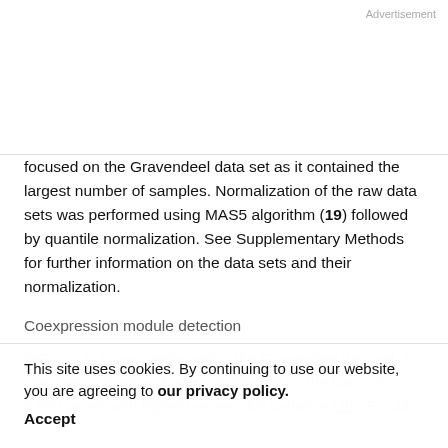Advertisement
focused on the Gravendeel data set as it contained the largest number of samples. Normalization of the raw data sets was performed using MAS5 algorithm (19) followed by quantile normalization. See Supplementary Methods for further information on the data sets and their normalization.
Coexpression module detection
WGCNA (14) was performed in the Gravendeel data set. A coexpression network was constructed on the basis of 4,000 genes with highest expression variance (20). For all
This site uses cookies. By continuing to use our website, you are agreeing to our privacy policy.
Accept